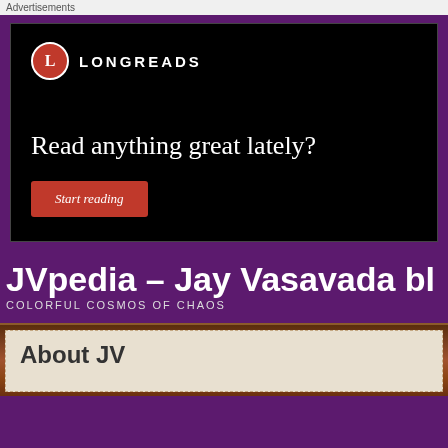Advertisements
[Figure (screenshot): Longreads advertisement banner with black background, Longreads logo (red circle with L), text 'Read anything great lately?' and a red 'Start reading' button]
JVpedia – Jay Vasavada bl
COLORFUL COSMOS OF CHAOS
[Figure (photo): Brown wooden frame with inner content showing 'About JV' text partially visible]